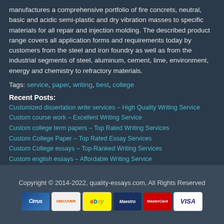manufactures a comprehensive portfolio of fire concrets, neutral, basic and acidic semi-plastic and dry vibration masses to specific materials for all repair and injection molding. The described product range covers all application forms and requirements today by customers from the steel and iron foundry as well as from the industrial segments of steel, aluminum, cement, lime, environment, energy and chemistry to refractory materials.
Tags: service, paper, writing, best, college
Recent Posts:
Customized dissertation write services – High Quality Writing Service
Custom course work – Excellent Writing Service
Custom college term papers – Top Rated Writing Services
Custom College Paper – Top Rated Essay Services
Custom College essays – Top-Ranked Writing Services
Custom english essays – Affordable Writing Service
Write customer-specific course work – Affordable Writing Service
Copyright © 2014-2022, quality-essays.com, All Rights Reserved